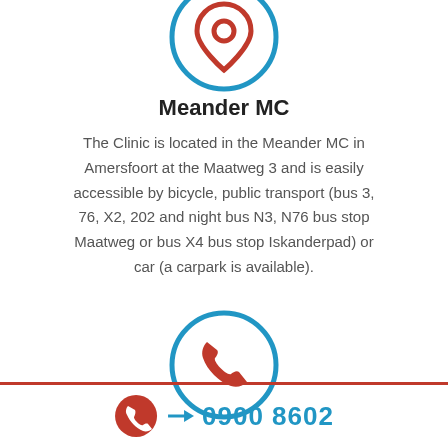[Figure (illustration): Location pin icon in red inside a blue circle, partially cropped at top]
Meander MC
The Clinic is located in the Meander MC in Amersfoort at the Maatweg 3 and is easily accessible by bicycle, public transport (bus 3, 76, X2, 202 and night bus N3, N76 bus stop Maatweg or bus X4 bus stop Iskanderpad) or car (a carpark is available).
[Figure (illustration): Phone/handset icon in red inside a blue circle, partially cropped at bottom]
0900 8602